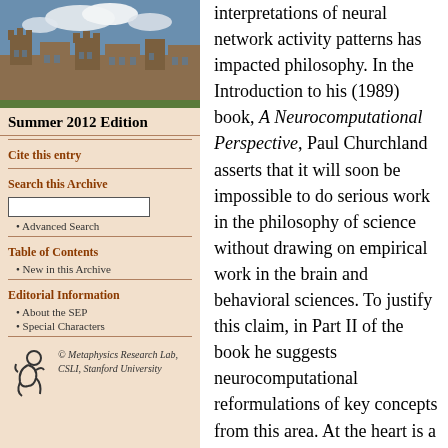[Figure (photo): Photo of a historic stone university building with blue sky and clouds]
Summer 2012 Edition
Cite this entry
Search this Archive
Advanced Search
Table of Contents
New in this Archive
Editorial Information
About the SEP
Special Characters
[Figure (logo): Metaphysics Research Lab logo with stylized figure]
© Metaphysics Research Lab, CSLI, Stanford University
interpretations of neural network activity patterns has impacted philosophy. In the Introduction to his (1989) book, A Neurocomputational Perspective, Paul Churchland asserts that it will soon be impossible to do serious work in the philosophy of science without drawing on empirical work in the brain and behavioral sciences. To justify this claim, in Part II of the book he suggests neurocomputational reformulations of key concepts from this area. At the heart is a neurocomputational account of the structure of scientific theories (1989, chapter 9). Problems with the orthodox